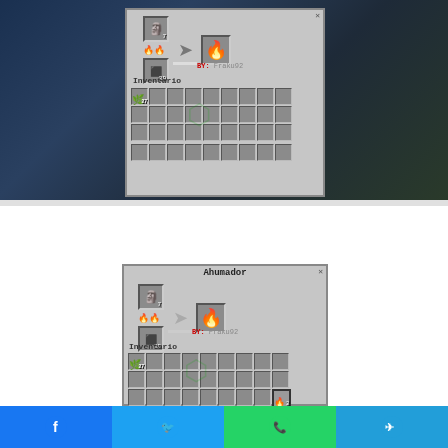[Figure (screenshot): Minecraft smoker/furnace UI screenshot (top) showing inventory panel with 'Inventario' label, crafting slots, items including fire/flame output, and BY: Fraku92 watermark]
[Figure (screenshot): Minecraft smoker UI screenshot (bottom) showing 'Ahumador' title panel, furnace slots with items, arrow progress indicator, flame output, BY: Fraku92 watermark, Inventario grid, and a selected slot with flame item]
[Figure (infographic): Social media share buttons bar at bottom: Facebook (blue), Twitter (light blue), WhatsApp (green), Telegram (blue)]